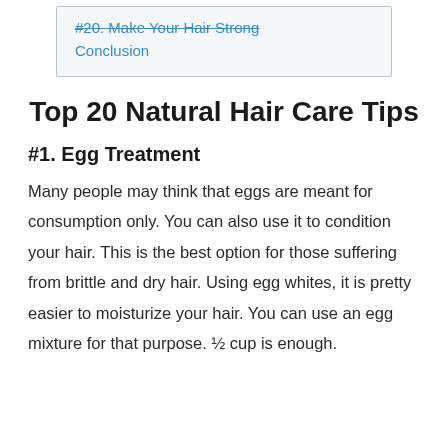#20. Make Your Hair Strong
Conclusion
Top 20 Natural Hair Care Tips
#1. Egg Treatment
Many people may think that eggs are meant for consumption only. You can also use it to condition your hair. This is the best option for those suffering from brittle and dry hair. Using egg whites, it is pretty easier to moisturize your hair. You can use an egg mixture for that purpose. ½ cup is enough.